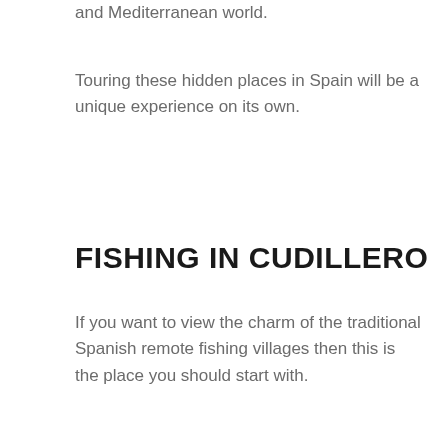and Mediterranean world.
Touring these hidden places in Spain will be a unique experience on its own.
FISHING IN CUDILLERO
If you want to view the charm of the traditional Spanish remote fishing villages then this is the place you should start with.